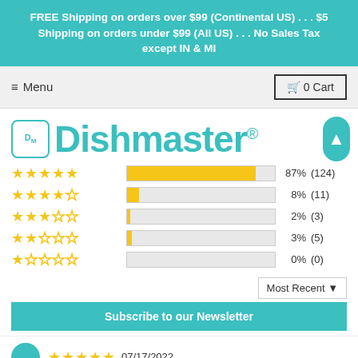FREE Shipping on orders over $99 (Continental US) . . . $5 Shipping on orders under $99 (All US) . . . No Sales Tax except IN & MI
≡ Menu
🛒 0 Cart
[Figure (logo): Dishmaster logo with DM box icon and teal text]
[Figure (bar-chart): Star rating distribution]
Most Recent ▼
Subscribe to our Newsletter
07/17/2022